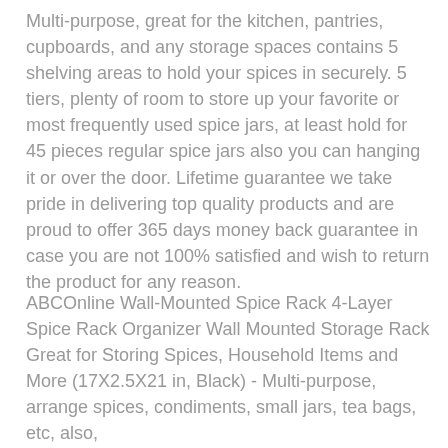Multi-purpose, great for the kitchen, pantries, cupboards, and any storage spaces contains 5 shelving areas to hold your spices in securely. 5 tiers, plenty of room to store up your favorite or most frequently used spice jars, at least hold for 45 pieces regular spice jars also you can hanging it or over the door. Lifetime guarantee we take pride in delivering top quality products and are proud to offer 365 days money back guarantee in case you are not 100% satisfied and wish to return the product for any reason.
ABCOnline Wall-Mounted Spice Rack 4-Layer Spice Rack Organizer Wall Mounted Storage Rack Great for Storing Spices, Household Items and More (17X2.5X21 in, Black) - Multi-purpose, arrange spices, condiments, small jars, tea bags, etc, also,